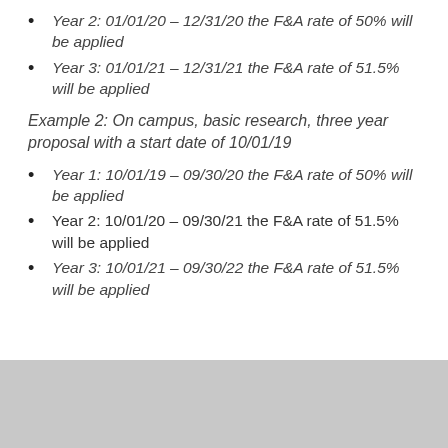Year 2: 01/01/20 – 12/31/20 the F&A rate of 50% will be applied
Year 3: 01/01/21 – 12/31/21 the F&A rate of 51.5% will be applied
Example 2: On campus, basic research, three year proposal with a start date of 10/01/19
Year 1: 10/01/19 – 09/30/20 the F&A rate of 50% will be applied
Year 2: 10/01/20 – 09/30/21 the F&A rate of 51.5% will be applied
Year 3: 10/01/21 – 09/30/22 the F&A rate of 51.5% will be applied